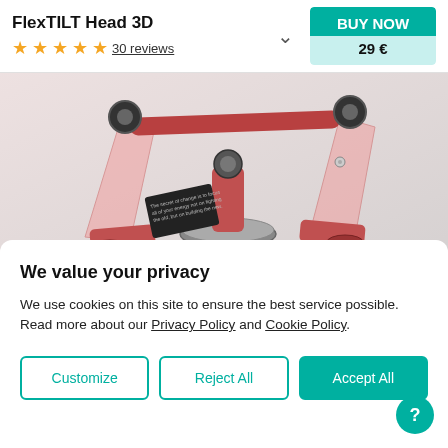FlexTILT Head 3D
30 reviews
BUY NOW
29 €
[Figure (photo): 3D rendered image of the FlexTILT Head 3D product, a red/transparent mechanical gimbal-like tripod head device on a light grey background]
We value your privacy
We use cookies on this site to ensure the best service possible. Read more about our Privacy Policy and Cookie Policy.
Customize
Reject All
Accept All